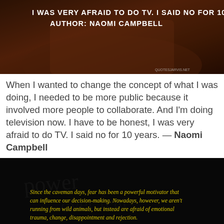[Figure (photo): Dark brownish-orange background image with white bold text overlay: 'I WAS VERY AFRAID TO DO TV. I SAID NO FOR 10 YEARS. AUTHOR: NAOMI CAMPBELL' and watermark 'QUOTESJARVIS.NET' in lower right]
When I wanted to change the concept of what I was doing, I needed to be more public because it involved more people to collaborate. And I'm doing television now. I have to be honest, I was very afraid to do TV. I said no for 10 years. — Naomi Campbell
[Figure (photo): Dark black background image with faint watermark text, and yellow italic font text: 'Since the caveman days, fear has been a powerful motivator that can influence our decision-making. Nowadays, however, we aren't running from wild animals, but instead are afraid of emotional trauma, change, disappointment and rejection. ~ Author: Elaina Marie']